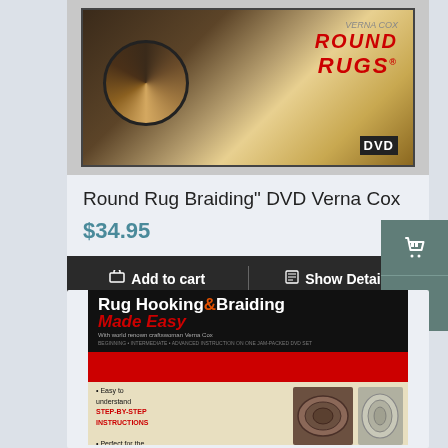[Figure (photo): DVD cover for 'Round Rug Braiding' by Verna Cox, showing a braided round rug and red text]
Round Rug Braiding" DVD Verna Cox
$34.95
Add to cart | Show Details
[Figure (photo): Book cover for 'Rug Hooking & Braiding Made Easy' with world renowned craftswoman Verna Cox, featuring step-by-step instructions]